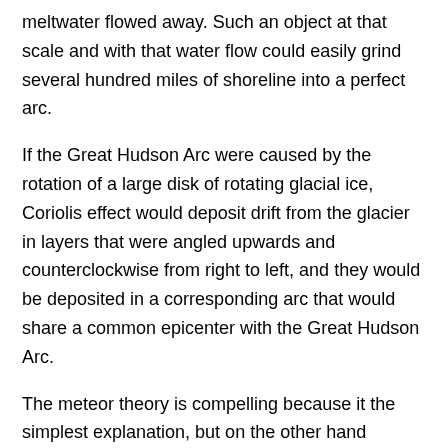meltwater flowed away. Such an object at that scale and with that water flow could easily grind several hundred miles of shoreline into a perfect arc.
If the Great Hudson Arc were caused by the rotation of a large disk of rotating glacial ice, Coriolis effect would deposit drift from the glacier in layers that were angled upwards and counterclockwise from right to left, and they would be deposited in a corresponding arc that would share a common epicenter with the Great Hudson Arc.
The meteor theory is compelling because it the simplest explanation, but on the other hand William of Ockham says... Catholic theology is